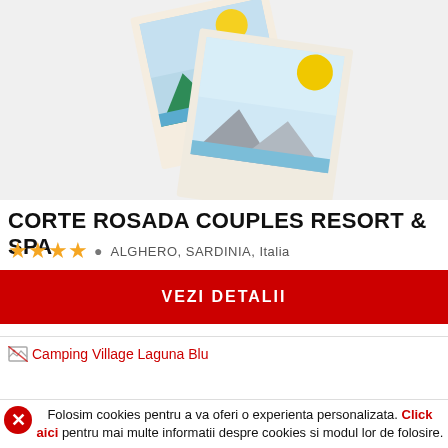[Figure (illustration): Two overlapping polaroid-style photo frames with mountain/landscape illustrations — one with green mountains and a sun, another with grey mountains and water.]
CORTE ROSADA COUPLES RESORT & SPA
★★★★ 📍 ALGHERO, SARDINIA, Italia
VEZI DETALII
[Figure (illustration): Broken image icon followed by link text: Camping Village Laguna Blu]
Folosim cookies pentru a va oferi o experienta personalizata. Click aici pentru mai multe informatii despre cookies si modul lor de folosire.